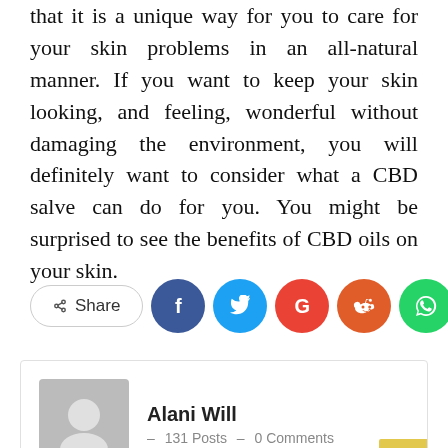that it is a unique way for you to care for your skin problems in an all-natural manner. If you want to keep your skin looking, and feeling, wonderful without damaging the environment, you will definitely want to consider what a CBD salve can do for you. You might be surprised to see the benefits of CBD oils on your skin.
[Figure (other): Social share bar with Share button and social media icons: Facebook, Twitter, Google+, Reddit, WhatsApp, and a more (+) button]
Alani Will · 131 Posts · 0 Comments